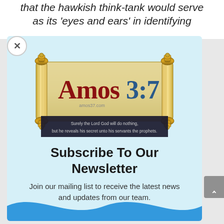that the hawkish think-tank would serve as its 'eyes and ears' in identifying
[Figure (logo): Amos 3:7 website logo — a Torah scroll graphic with 'Amos3:7' text in red and blue, with subtitle 'amos37.com' and a dark banner reading 'Surely the Lord God will do nothing, but he reveals his secret unto his servants the prophets.']
Subscribe To Our Newsletter
Join our mailing list to receive the latest news and updates from our team.